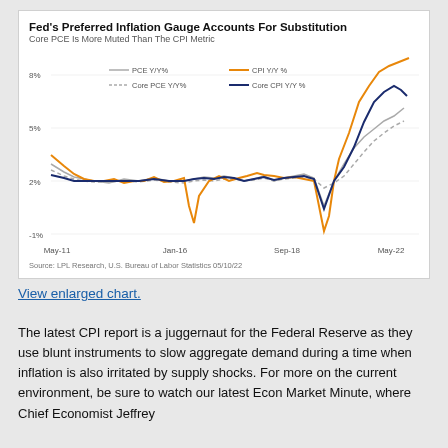[Figure (continuous-plot): Line chart showing PCE Y/Y%, Core PCE Y/Y%, CPI Y/Y%, and Core CPI Y/Y% from May-11 to May-22. Y-axis ranges from -1% to 8%. All four series track near 2% from 2011-2020, dip around 2020 (CPI/PCE to near -1%), then surge sharply to ~8% (CPI) and ~6% (Core CPI) by May 2022.]
View enlarged chart.
The latest CPI report is a juggernaut for the Federal Reserve as they use blunt instruments to slow aggregate demand during a time when inflation is also irritated by supply shocks. For more on the current environment, be sure to watch our latest Econ Market Minute, where Chief Economist Jeffrey